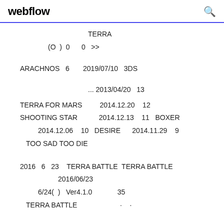webflow  Q
TERRA
(O ) 0    0  >>
ARACHNOS  6    2019/07/10  3DS
... 2013/04/20  13
TERRA FOR MARS       2014.12.20   12
SHOOTING STAR        2014.12.13   11  BOXER
2014.12.06   10  DESIRE    2014.11.29   9
TOO SAD TOO DIE
2016  6  23   TERRA BATTLE  TERRA BATTLE
2016/06/23
6/24( )  Ver4.1.0          35
TERRA BATTLE                    ·     ·